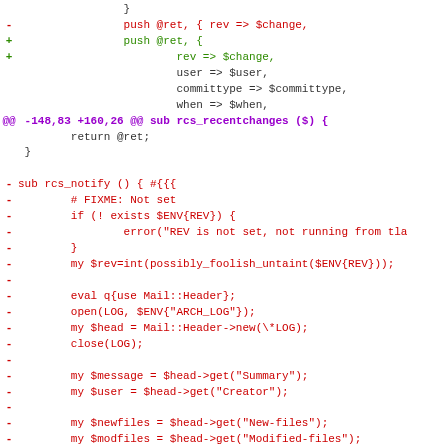Code diff showing changes to Perl RCS functions including rcs_recentchanges and rcs_notify
[Figure (screenshot): Unified diff of Perl source code showing removed lines (red, prefixed with -) and added lines (green, prefixed with +), including hunk headers in purple]